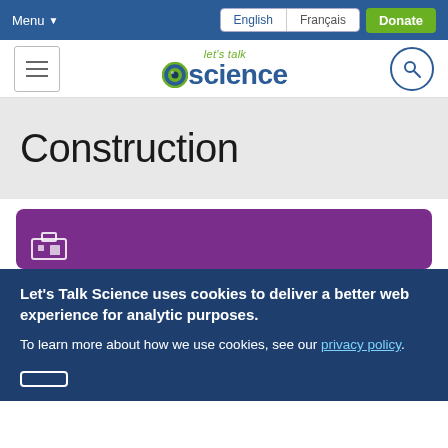Menu  English  Français  Donate
[Figure (logo): Let's Talk Science logo with hamburger menu and search icon]
Construction
[Figure (illustration): Purple card with icon at the top of content area]
Let's Talk Science uses cookies to deliver a better web experience for analytic purposes.
To learn more about how we use cookies, see our privacy policy.